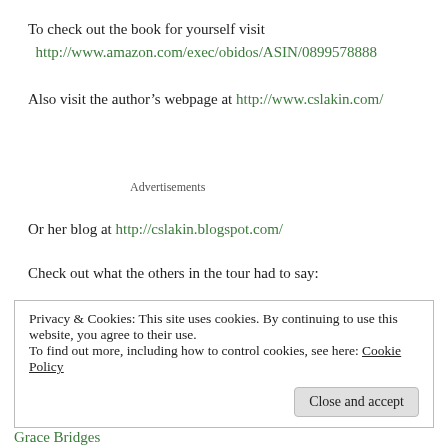To check out the book for yourself visit http://www.amazon.com/exec/obidos/ASIN/0899578888
Also visit the author's webpage at http://www.cslakin.com/
Advertisements
Or her blog at http://cslakin.blogspot.com/
Check out what the others in the tour had to say:
Privacy & Cookies: This site uses cookies. By continuing to use this website, you agree to their use. To find out more, including how to control cookies, see here: Cookie Policy
Close and accept
Grace Bridges